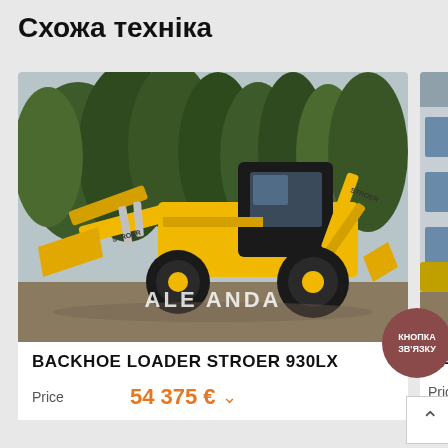Схожа техніка
[Figure (photo): Yellow backhoe loader STROER 930LX parked outdoors with trees in background. ALEANDA watermark visible on the image.]
BACKHOE LOADER STROER 930LX
Price  54 375 €
[Figure (photo): Partially visible second machinery listing photo showing a building in the background.]
BACKH
Price
КНОПКА ЗВ'ЯЗКУ